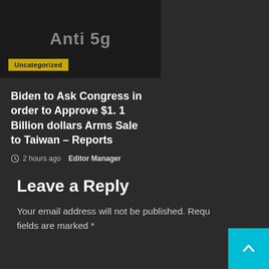[Figure (illustration): Dark background image with gray text reading 'Anti 5g']
Uncategorized
Biden to Ask Congress in order to Approve $1. 1 Billion dollars Arms Sale to Taiwan – Reports
2 hours ago  Editor Manager
Leave a Reply
Your email address will not be published. Required fields are marked *